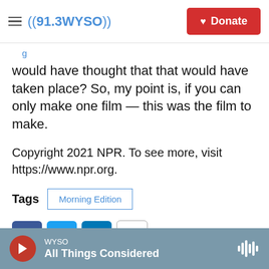((91.3 WYSO)) | Donate
would have thought that that would have taken place? So, my point is, if you can only make one film — this was the film to make.
Copyright 2021 NPR. To see more, visit https://www.npr.org.
Tags  Morning Edition
[Figure (screenshot): Social share buttons: Facebook (blue), Twitter (blue), LinkedIn (blue), Email (outline)]
[Figure (photo): Partial thumbnail image with yellow background showing person]
WYSO  All Things Considered